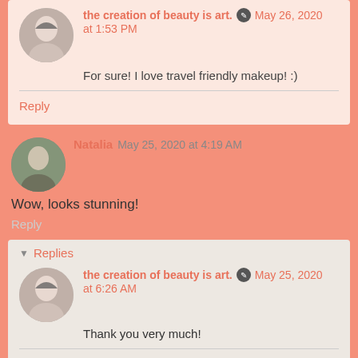the creation of beauty is art. May 26, 2020 at 1:53 PM
For sure! I love travel friendly makeup! :)
Reply
Natalia May 25, 2020 at 4:19 AM
Wow, looks stunning!
Reply
Replies
the creation of beauty is art. May 25, 2020 at 6:26 AM
Thank you very much!
Reply